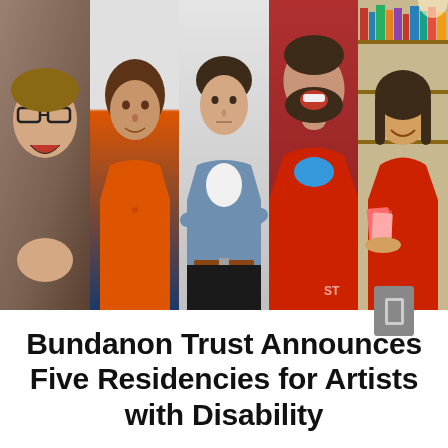[Figure (photo): A horizontal strip of five portrait photographs of people with disabilities. From left to right: a person with glasses laughing, holding something; a woman in an orange shirt; a young man in a denim shirt with arms crossed; a bearded man laughing with eyes closed wearing a red hoodie; a woman smiling and holding books in a library setting.]
Bundanon Trust Announces Five Residencies for Artists with Disability